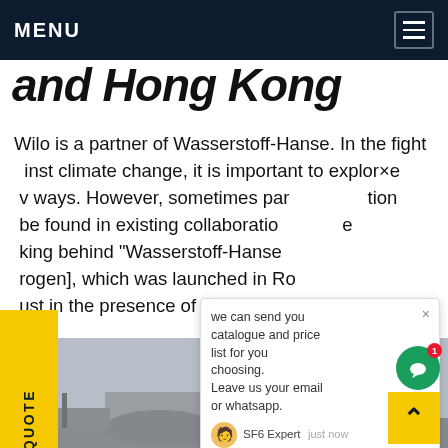MENU
...and Hong Kong
Wilo is a partner of Wasserstoff-Hanse. In the fight against climate change, it is important to explore new ways. However, sometimes part of the solution can be found in existing collaborations. The idea linking behind "Wasserstoff-Hanse" [Hanse for Hydrogen], which was launched in Rostock in August in the presence of prominent...
[Figure (screenshot): Chat popup overlay with message: we can send you catalogue and price list for you choosing. Leave us your email or whatsapp. SF6 Expert just now. Write input with like and attachment icons. Green chat bubble icon with notification badge showing 1.]
REQUEST A QUOTE
[Figure (photo): Industrial facility photograph showing large cylindrical equipment, piping, and industrial towers/structures in grey overcast conditions.]
[Figure (other): Yellow scroll-to-top button with upward arrow chevron in bottom right corner.]